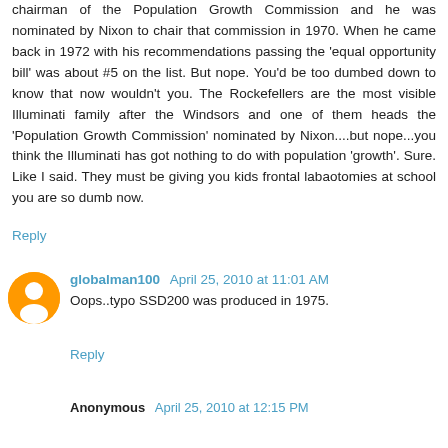chairman of the Population Growth Commission and he was nominated by Nixon to chair that commission in 1970. When he came back in 1972 with his recommendations passing the 'equal opportunity bill' was about #5 on the list. But nope. You'd be too dumbed down to know that now wouldn't you. The Rockefellers are the most visible Illuminati family after the Windsors and one of them heads the 'Population Growth Commission' nominated by Nixon....but nope...you think the Illuminati has got nothing to do with population 'growth'. Sure. Like I said. They must be giving you kids frontal labaotomies at school you are so dumb now.
Reply
globalman100  April 25, 2010 at 11:01 AM
Oops..typo SSD200 was produced in 1975.
Reply
Anonymous  April 25, 2010 at 12:15 PM